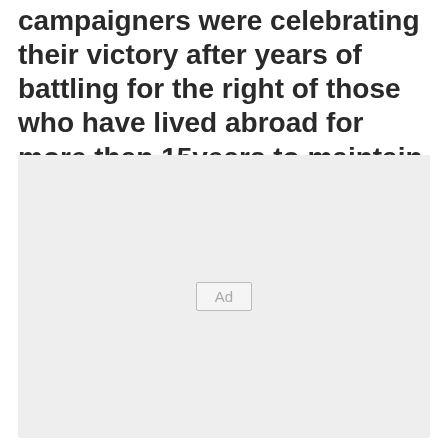campaigners were celebrating their victory after years of battling for the right of those who have lived abroad for more than 15years to maintain the right to vote in UK elections.
[Figure (other): Advertisement placeholder box with light grey background and 'Ad' label in the center]